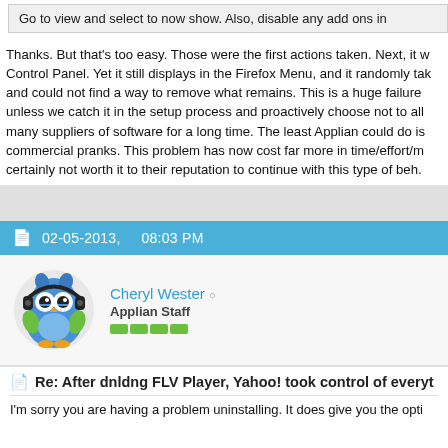Go to view and select to now show. Also, disable any add ons in
Thanks. But that's too easy. Those were the first actions taken. Next, it w Control Panel. Yet it still displays in the Firefox Menu, and it randomly tak and could not find a way to remove what remains. This is a huge failure unless we catch it in the setup process and proactively choose not to al many suppliers of software for a long time. The least Applian could do is commercial pranks. This problem has now cost far more in time/effort/m certainly not worth it to their reputation to continue with this type of beh.
02-05-2013,    08:03 PM
Cheryl Wester
Applian Staff
Re: After dnldng FLV Player, Yahoo! took control of everyt
I'm sorry you are having a problem uninstalling. It does give you the opti